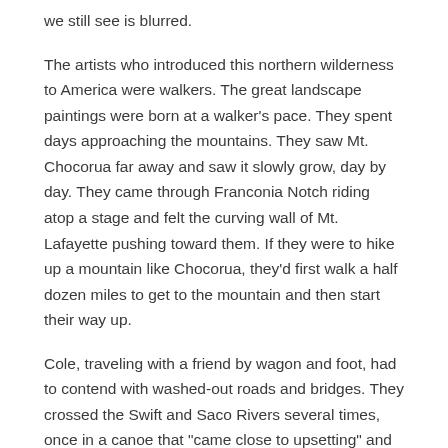we still see is blurred.
The artists who introduced this northern wilderness to America were walkers. The great landscape paintings were born at a walker's pace. They spent days approaching the mountains. They saw Mt. Chocorua far away and saw it slowly grow, day by day. They came through Franconia Notch riding atop a stage and felt the curving wall of Mt. Lafayette pushing toward them. If they were to hike up a mountain like Chocorua, they'd first walk a half dozen miles to get to the mountain and then start their way up.
Cole, traveling with a friend by wagon and foot, had to contend with washed-out roads and bridges. They crossed the Swift and Saco Rivers several times, once in a canoe that "came close to upsetting" and other times by "means of fallen trees and rocks and I may add firm nerves, for it required no little courage to venture on such precarious bridges with a rapid stream rushing beneath," he wrote in his diary.